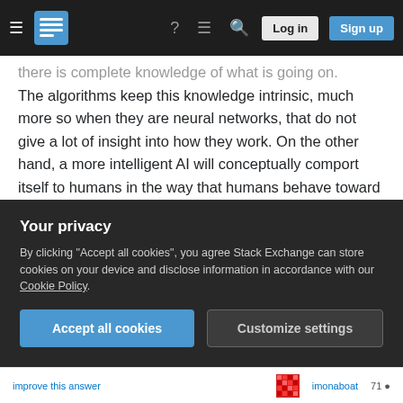Stack Exchange navigation bar with hamburger menu, logo, help, chat, search icons, Log in and Sign up buttons
there is complete knowledge of what is going on. The algorithms keep this knowledge intrinsic, much more so when they are neural networks, that do not give a lot of insight into how they work. On the other hand, a more intelligent AI will conceptually comport itself to humans in the way that humans behave toward horses. Thereby they will probably identify the human need of being creatively productive and indeed facilitate that. I don't believe that rich people will have a lot to say over super human intelligence, since outwitting rich people while hopefully understanding the benefit of serving the common
Your privacy
By clicking "Accept all cookies", you agree Stack Exchange can store cookies on your device and disclose information in accordance with our Cookie Policy.
Accept all cookies  Customize settings
improve this answer  imonaboat  71